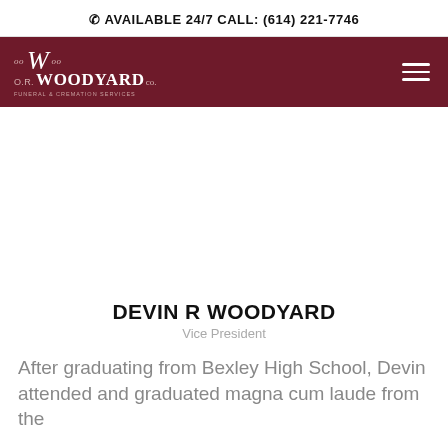AVAILABLE 24/7 CALL: (614) 221-7746
[Figure (logo): O.R. Woodyard Co. Funeral & Cremation Services logo in white on dark red/maroon navigation bar with hamburger menu icon]
DEVIN R WOODYARD
Vice President
After graduating from Bexley High School, Devin attended and graduated magna cum laude from the